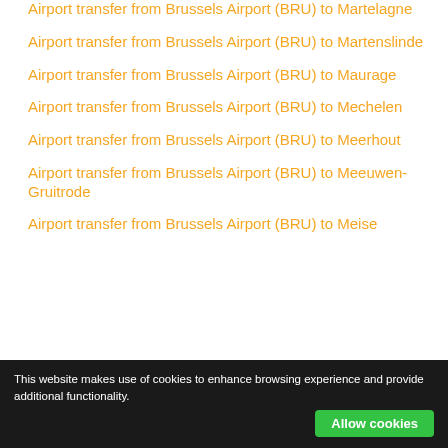Airport transfer from Brussels Airport (BRU) to Martelagne
Airport transfer from Brussels Airport (BRU) to Martenslinde
Airport transfer from Brussels Airport (BRU) to Maurage
Airport transfer from Brussels Airport (BRU) to Mechelen
Airport transfer from Brussels Airport (BRU) to Meerhout
Airport transfer from Brussels Airport (BRU) to Meeuwen-Gruitrode
Airport transfer from Brussels Airport (BRU) to Meise
This website makes use of cookies to enhance browsing experience and provide additional functionality.